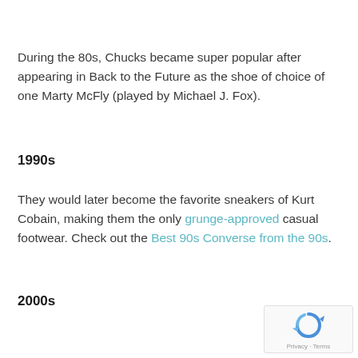During the 80s, Chucks became super popular after appearing in Back to the Future as the shoe of choice of one Marty McFly (played by Michael J. Fox).
1990s
They would later become the favorite sneakers of Kurt Cobain, making them the only grunge-approved casual footwear. Check out the Best 90s Converse from the 90s.
2000s
[Figure (logo): reCAPTCHA logo with Privacy and Terms footer text]